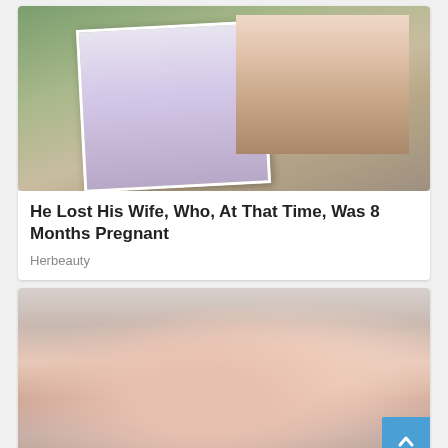[Figure (photo): A man crouching outdoors on a dirt path holding a large printed photo of a pregnant woman in a lavender dress, with a young child in a pink tutu dress beside him. Natural outdoor setting with rocks and dry leaves.]
He Lost His Wife, Who, At That Time, Was 8 Months Pregnant
Herbeauty
[Figure (photo): A couple embracing outdoors. A woman wearing a dark navy hijab and pink top is being kissed on the cheek by a young man in a pink polo shirt. Blurred background of bare branches and a fence.]